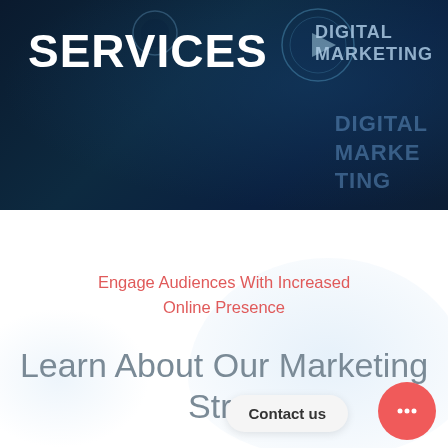[Figure (illustration): Dark navy/teal hero banner with digital marketing themed imagery including circular play button graphic and 'DIGITAL MARKETING' text overlay]
SERVICES
Engage Audiences With Increased Online Presence
Learn About Our Marketing Strat
Contact us